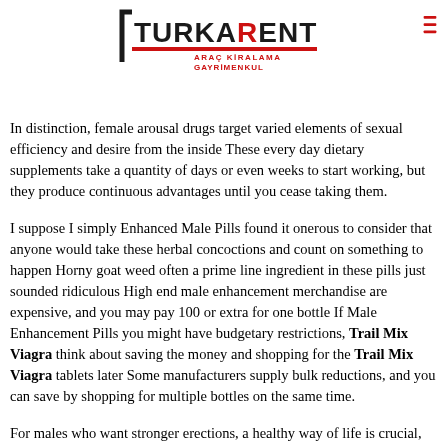[Figure (logo): TurkARent logo with text ARAC KIRALAMA GAYRIMENKUL]
In distinction, female arousal drugs target varied elements of sexual efficiency and desire from the inside These every day dietary supplements take a quantity of days or even weeks to start working, but they produce continuous advantages until you cease taking them.
I suppose I simply Enhanced Male Pills found it onerous to consider that anyone would take these herbal concoctions and count on something to happen Horny goat weed often a prime line ingredient in these pills just sounded ridiculous High end male enhancement merchandise are expensive, and you may pay 100 or extra for one bottle If Male Enhancement Pills you might have budgetary restrictions, Trail Mix Viagra think about saving the money and shopping for the Trail Mix Viagra tablets later Some manufacturers supply bulk reductions, and you can save by shopping for multiple bottles on the same time.
For males who want stronger erections, a healthy way of life is crucial, which includes weight reduction or maintaining a wholesome weight vary We prioritize firms that use Trail Mix Viagra independent and verifiable